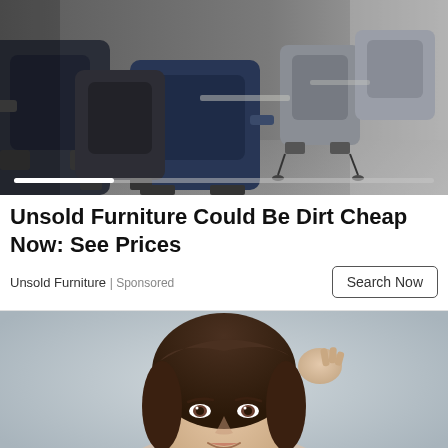[Figure (photo): Photo of multiple office/salon chairs arranged in rows, dark navy and gray upholstered chairs, showroom setting with blurred background. Slider/carousel indicator bar at bottom.]
Unsold Furniture Could Be Dirt Cheap Now: See Prices
Unsold Furniture | Sponsored
[Figure (photo): Photo of a young woman with dark hair pulled back, smiling, against a light gray background.]